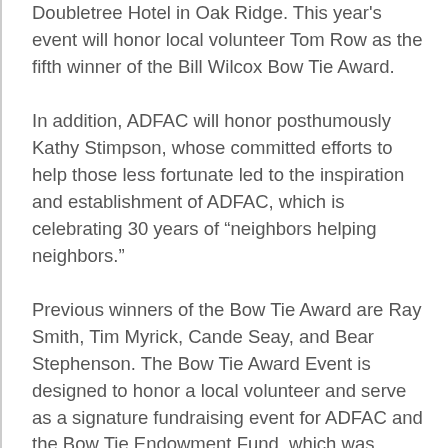Doubletree Hotel in Oak Ridge. This year's event will honor local volunteer Tom Row as the fifth winner of the Bill Wilcox Bow Tie Award.
In addition, ADFAC will honor posthumously Kathy Stimpson, whose committed efforts to help those less fortunate led to the inspiration and establishment of ADFAC, which is celebrating 30 years of “neighbors helping neighbors.”
Previous winners of the Bow Tie Award are Ray Smith, Tim Myrick, Cande Seay, and Bear Stephenson. The Bow Tie Award Event is designed to honor a local volunteer and serve as a signature fundraising event for ADFAC and the Bow Tie Endowment Fund, which was